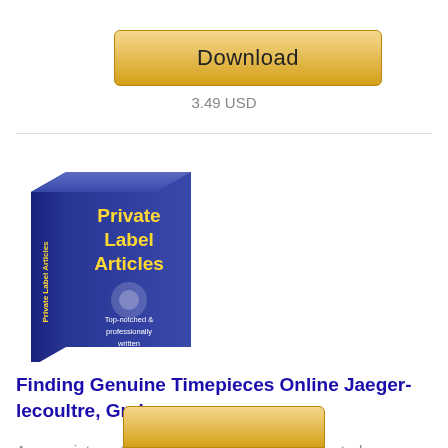[Figure (other): Golden Download button]
3.49 USD
[Figure (illustration): Book cover for Private Label Articles - Top-notched & professionally written]
Finding Genuine Timepieces Online Jaeger-lecoultre, Graham
Are you interested in finding authentic complicated watches? Do you find rambling from store to store tiring and unsatisfactory? If...